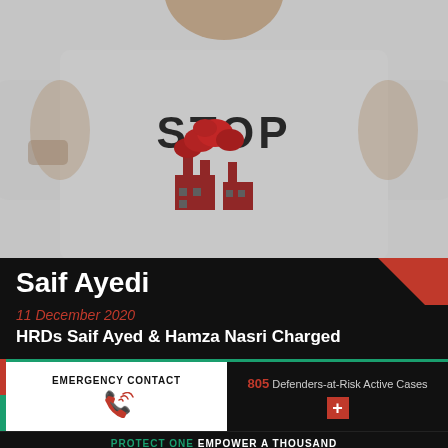[Figure (photo): Person wearing a grey t-shirt with 'STOP' text and a factory graphic in red, photographed from neck to waist]
Saif Ayedi
11 December 2020
HRDs Saif Ayed & Hamza Nasri Charged
EMERGENCY CONTACT
805 Defenders-at-Risk Active Cases
PROTECT ONE EMPOWER A THOUSAND